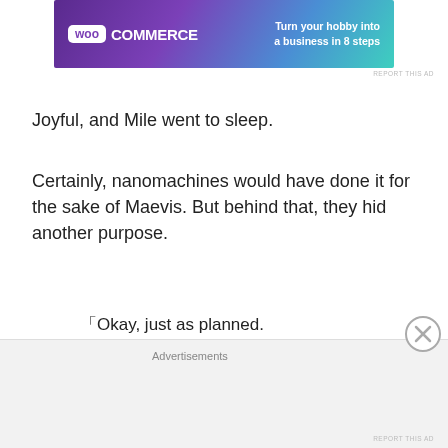[Figure (screenshot): WooCommerce advertisement banner: purple gradient background with WooCommerce logo on left and text 'Turn your hobby into a business in 8 steps' on right]
REPORT THIS AD
Joyful, and Mile went to sleep.
Certainly, nanomachines would have done it for the sake of Maevis. But behind that, they hid another purpose.
“Okay, just as planned.
Now, the frequency of Maevis-dono using Micros will increase!
If that happens, those who have been waiting for thei
Advertisements
REPORT THIS AD